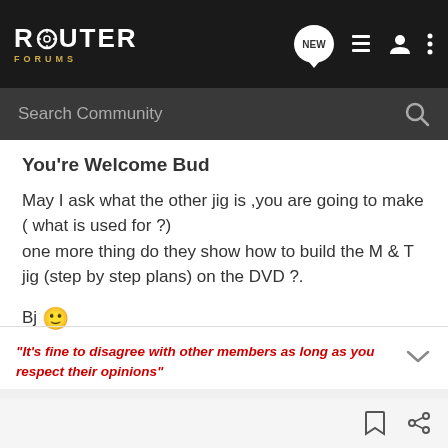ROUTER FORUMS
Search Community
You're Welcome Bud

May I ask what the other jig is ,you are going to make ( what is used for ?)
one more thing do they show how to build the M & T jig (step by step plans) on the DVD ?.

Bj 🙂
"It's fine to disagree with other members as long as you respect their opinions"